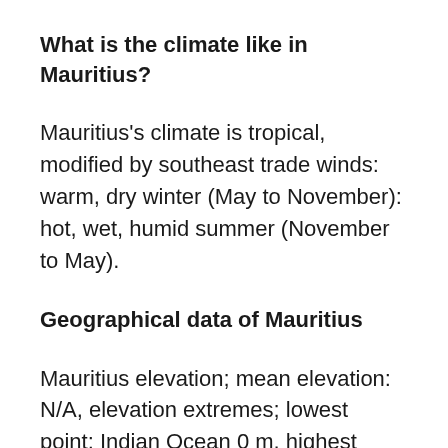What is the climate like in Mauritius?
Mauritius’s climate is tropical, modified by southeast trade winds: warm, dry winter (May to November): hot, wet, humid summer (November to May).
Geographical data of Mauritius
Mauritius elevation; mean elevation: N/A, elevation extremes; lowest point: Indian Ocean 0 m, highest point: Mont Piton 828 m.
Mauritius’s specific geographical details include a small coastal plain rising to discontinuous mountains encircling the